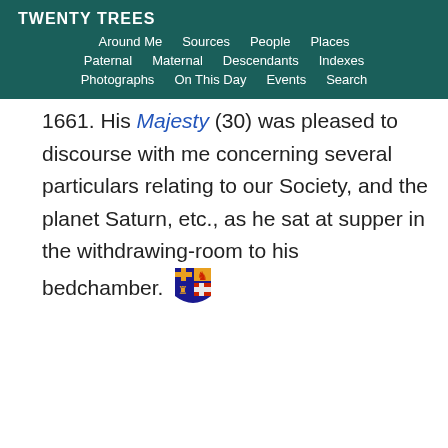Twenty Trees
Around Me | Sources | People | Places | Paternal | Maternal | Descendants | Indexes | Photographs | On This Day | Events | Search
1661. His Majesty (30) was pleased to discourse with me concerning several particulars relating to our Society, and the planet Saturn, etc., as he sat at supper in the withdrawing-room to his bedchamber.